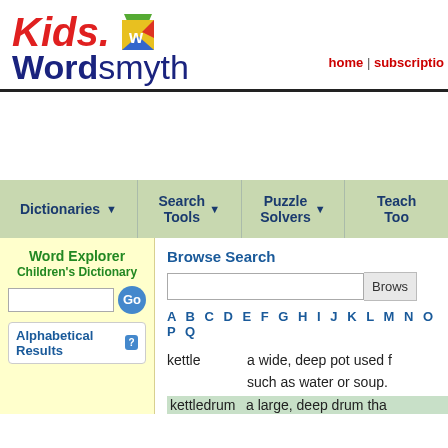[Figure (logo): Kids. Wordsmyth logo with colorful W icon]
home | subscription
[Figure (screenshot): Navigation bar with Dictionaries, Search Tools, Puzzle Solvers, Teacher Tools]
Word Explorer Children's Dictionary
Alphabetical Results
Browse Search
A B C D E F G H I J K L M N O P Q
kettle   a wide, deep pot used for such as water or soup.
kettledrum a large, deep drum that